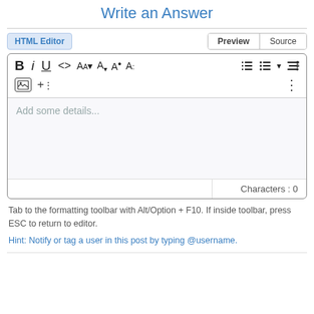Write an Answer
[Figure (screenshot): HTML editor interface with toolbar showing bold, italic, underline, code, font size, color controls, list controls, image insert, and add buttons. Below the toolbar is a text area with placeholder 'Add some details...' and a character counter showing 'Characters : 0'.]
Tab to the formatting toolbar with Alt/Option + F10. If inside toolbar, press ESC to return to editor.
Hint: Notify or tag a user in this post by typing @username.